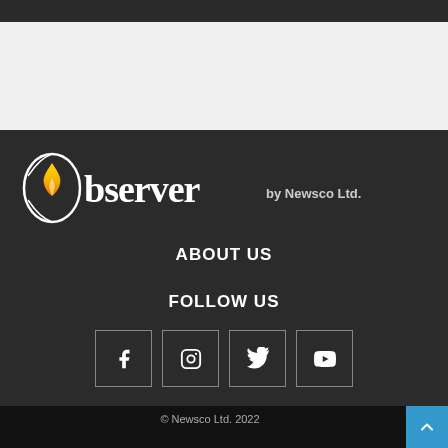[Figure (logo): Observer by Newsco Ltd. logo with flame icon]
ABOUT US
FOLLOW US
[Figure (infographic): Social media icons: Facebook, Instagram, Twitter, YouTube]
© Newsco Ltd. 2022